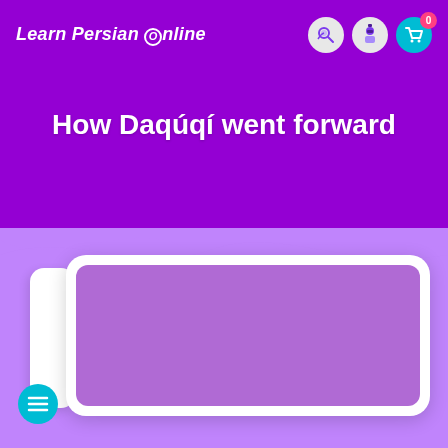Learn Persian Online
How Daqúqí went forward
[Figure (screenshot): Purple video player card with rounded rectangle, white border/background, and a left tab attachment on a light purple background]